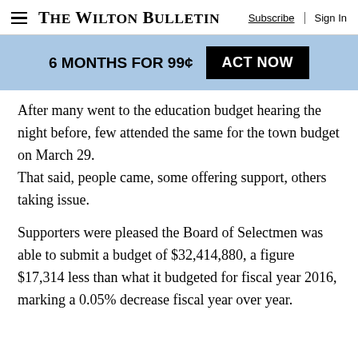The Wilton Bulletin | Subscribe | Sign In
6 MONTHS FOR 99¢  ACT NOW
After many went to the education budget hearing the night before, few attended the same for the town budget on March 29. That said, people came, some offering support, others taking issue.
Supporters were pleased the Board of Selectmen was able to submit a budget of $32,414,880, a figure $17,314 less than what it budgeted for fiscal year 2016, marking a 0.05% decrease fiscal year over year.